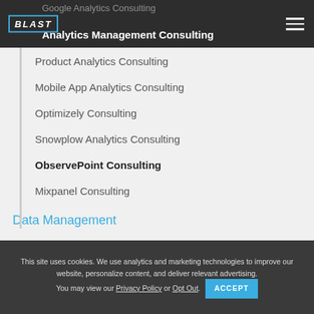BLAST | Analytics Management Consulting
Product Analytics Consulting
Mobile App Analytics Consulting
Optimizely Consulting
Snowplow Analytics Consulting
ObservePoint Consulting
Mixpanel Consulting
Data Management
Data Visualization
Data Analysis & Insights
Analytics Audits
Customer Experience Consulting
This site uses cookies. We use analytics and marketing technologies to improve our website, personalize content, and deliver relevant advertising. You may view our Privacy Policy or Opt Out.